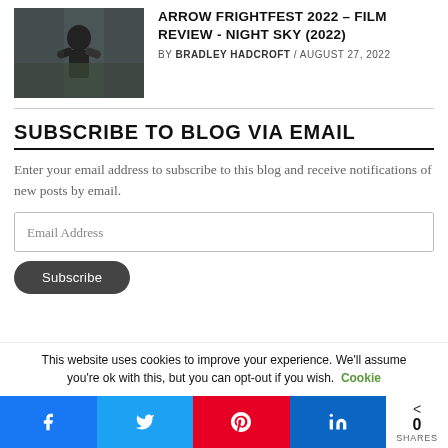[Figure (photo): Thumbnail image of a dark scene with a figure, for the Arrow FrightFest 2022 Night Sky film review article]
ARROW FRIGHTFEST 2022 – FILM REVIEW - NIGHT SKY (2022)
BY BRADLEY HADCROFT / AUGUST 27, 2022
SUBSCRIBE TO BLOG VIA EMAIL
Enter your email address to subscribe to this blog and receive notifications of new posts by email.
Email Address
Subscribe
This website uses cookies to improve your experience. We'll assume you're ok with this, but you can opt-out if you wish. Cookie
0 SHARES